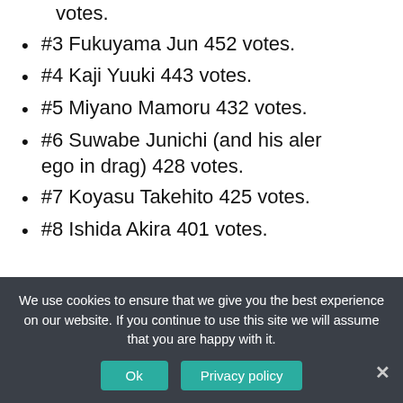votes.
#3 Fukuyama Jun 452 votes.
#4 Kaji Yuuki 443 votes.
#5 Miyano Mamoru 432 votes.
#6 Suwabe Junichi (and his aler ego in drag) 428 votes.
#7 Koyasu Takehito 425 votes.
#8 Ishida Akira 401 votes.
[Figure (screenshot): YouTube video thumbnail with title: Anime Voice Comparison- Kag...]
We use cookies to ensure that we give you the best experience on our website. If you continue to use this site we will assume that you are happy with it.